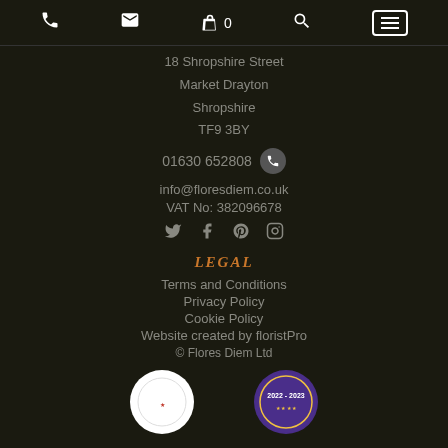Navigation bar with phone, email, basket (0), search, and menu icons
18 Shropshire Street
Market Drayton
Shropshire
TF9 3BY
01630 652808
info@floresdiem.co.uk
VAT No: 382096678
Social icons: Twitter, Facebook, Pinterest, Instagram
LEGAL
Terms and Conditions
Privacy Policy
Cookie Policy
Website created by floristPro
© Flores Diem Ltd
[Figure (logo): Two circular badge logos at bottom of page - one white circle and one purple circle showing 2022-2023]